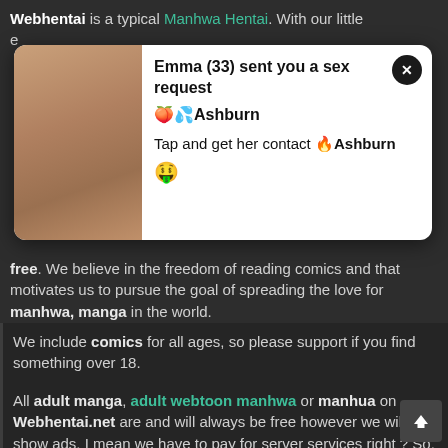Webhentai is a typical Manhwa Hentai. With our little e…
[Figure (screenshot): Popup advertisement showing a woman's photo on the left and text 'Emma (33) sent you a sex request 🍑💦Ashburn Tap and get her contact 🔥Ashburn 🤑' with a close button (x) on a white rounded card]
free. We believe in the freedom of reading comics and that motivates us to pursue the goal of spreading the love for manhwa, manga in the world.
We include comics for all ages, so please support if you find something over 18.
All adult manga, adult webtoon manhwa or manhua on Webhentai.net are and will always be free however we will show ads, I mean we have to pay for server services right ? So,
Help us by sharing this site with your friends! We made the site in such a way that it is easy to use.
Webhentai aspires to serve global readers with engaging and agile content in capturing the latest trends of adult…